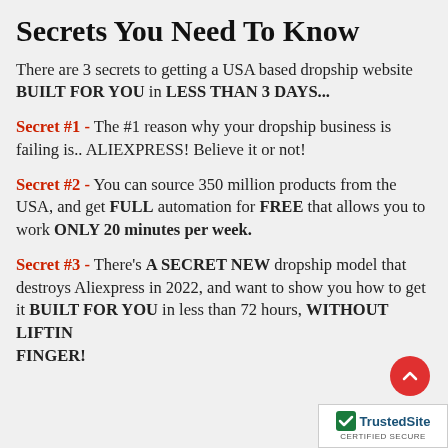Secrets You Need To Know
There are 3 secrets to getting a USA based dropship website BUILT FOR YOU in LESS THAN 3 DAYS...
Secret #1 - The #1 reason why your dropship business is failing is.. ALIEXPRESS! Believe it or not!
Secret #2 - You can source 350 million products from the USA, and get FULL automation for FREE that allows you to work ONLY 20 minutes per week.
Secret #3 - There's A SECRET NEW dropship model that destroys Aliexpress in 2022, and want to show you how to get it BUILT FOR YOU in less than 72 hours, WITHOUT LIFTING A FINGER!
[Figure (logo): TrustedSite Certified Secure badge with checkmark logo]